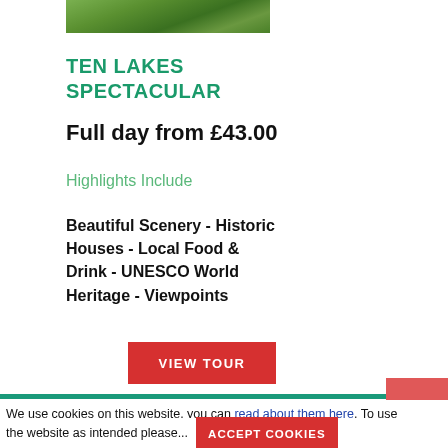[Figure (photo): Partial view of a photo showing green foliage/trees at the top of the page]
TEN LAKES SPECTACULAR
Full day from £43.00
Highlights Include
Beautiful Scenery - Historic Houses - Local Food & Drink - UNESCO World Heritage - Viewpoints
[Figure (other): Red VIEW TOUR button]
We use cookies on this website, you can read about them here. To use the website as intended please...
[Figure (other): ACCEPT COOKIES red button]